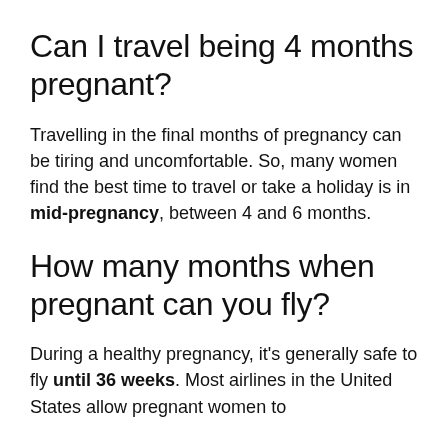Can I travel being 4 months pregnant?
Travelling in the final months of pregnancy can be tiring and uncomfortable. So, many women find the best time to travel or take a holiday is in mid-pregnancy, between 4 and 6 months.
How many months when pregnant can you fly?
During a healthy pregnancy, it's generally safe to fly until 36 weeks. Most airlines in the United States allow pregnant women to